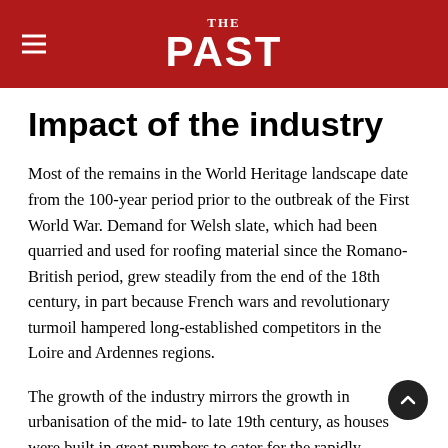THE PAST
Impact of the industry
Most of the remains in the World Heritage landscape date from the 100-year period prior to the outbreak of the First World War. Demand for Welsh slate, which had been quarried and used for roofing material since the Romano-British period, grew steadily from the end of the 18th century, in part because French wars and revolutionary turmoil hampered long-established competitors in the Loire and Ardennes regions.
The growth of the industry mirrors the growth in urbanisation of the mid- to late 19th century, as houses were built in great numbers to cater for the rapidly growing populations of towns and cities all over the world (see CA 366). Welsh slate,